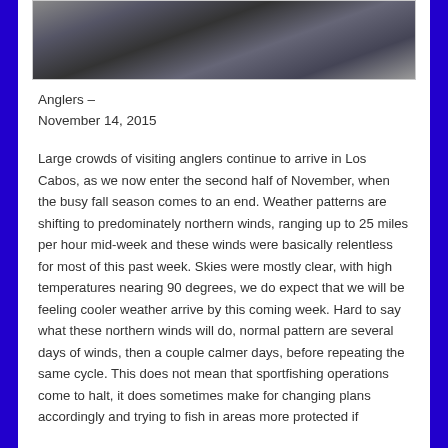[Figure (photo): Outdoor nature/fishing scene with dark foliage and shadowed background]
Anglers –
November 14, 2015
Large crowds of visiting anglers continue to arrive in Los Cabos, as we now enter the second half of November, when the busy fall season comes to an end. Weather patterns are shifting to predominately northern winds, ranging up to 25 miles per hour mid-week and these winds were basically relentless for most of this past week. Skies were mostly clear, with high temperatures nearing 90 degrees, we do expect that we will be feeling cooler weather arrive by this coming week. Hard to say what these northern winds will do, normal pattern are several days of winds, then a couple calmer days, before repeating the same cycle. This does not mean that sportfishing operations come to halt, it does sometimes make for changing plans accordingly and trying to fish in areas more protected if